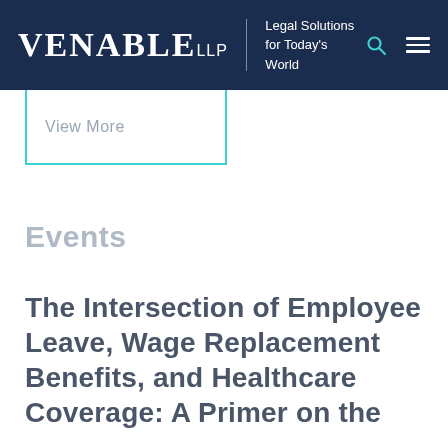VENABLE LLP | Legal Solutions for Today's World
View More
Events
The Intersection of Employee Leave, Wage Replacement Benefits, and Healthcare Coverage: A Primer on the